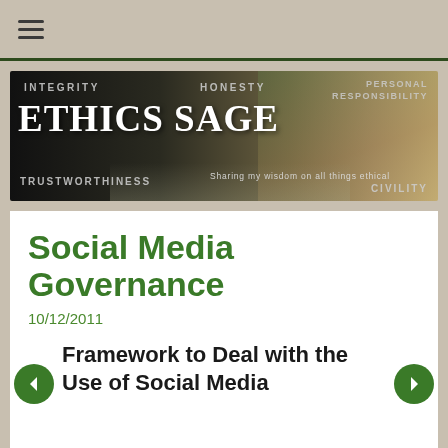☰
[Figure (illustration): Ethics Sage website banner with words INTEGRITY, HONESTY, PERSONAL RESPONSIBILITY, TRUSTWORTHINESS, CIVILITY overlaid on a dark background with a person at a keyboard. Large white text reads ETHICS SAGE with tagline 'Sharing my wisdom on all things ethical'.]
Social Media Governance
10/12/2011
Framework to Deal with the Use of Social Media